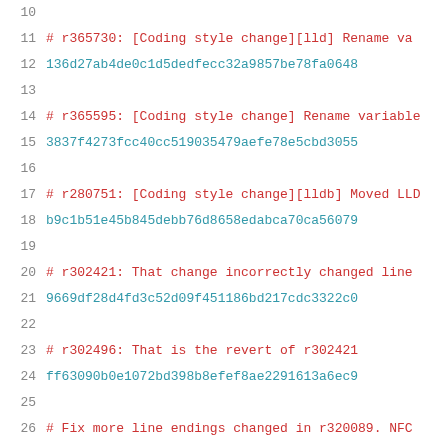10  (empty line)
11  # r365730: [Coding style change][lld] Rename va
12  136d27ab4de0c1d5dedfecc32a9857be78fa0648
13  (empty line)
14  # r365595: [Coding style change] Rename variable
15  3837f4273fcc40cc519035479aefe78e5cbd3055
16  (empty line)
17  # r280751: [Coding style change][lldb] Moved LLD
18  b9c1b51e45b845debb76d8658edabca70ca56079
19  (empty line)
20  # r302421: That change incorrectly changed line
21  9669df28d4fd3c52d09f451186bd217cdc3322c0
22  (empty line)
23  # r302496: That is the revert of r302421
24  ff63090b0e1072bd398b8efef8ae2291613a6ec9
25  (empty line)
26  # Fix more line endings changed in r320089. NFC
27  d8f0e6caa91e230a486c948ab643174e40bdf215
28  (empty line)
29  # Correct line endings that got mixed up in r32
30  29dc5ded45447915d96ef7ca3f02acf2232282e0
31  (empty line)